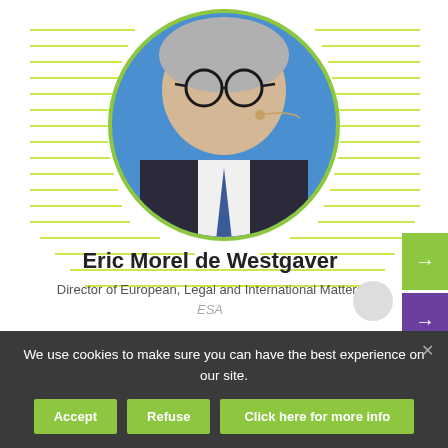[Figure (photo): Circular portrait photo of Eric Morel de Westgaver, a middle-aged man with grey hair, glasses, wearing a dark suit with a blue tie and a microphone headset, against a blue background. Decorative yellow-green horizontal lines radiate behind the circle.]
Eric Morel de Westgaver
Director of European, Legal and International Matters
ESA
We use cookies to make sure you can have the best experience on our site.
Accept | Refuse | Click here for more info